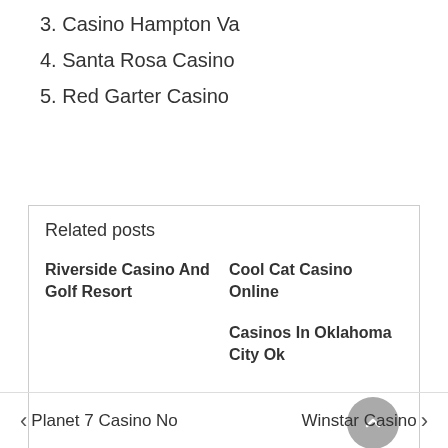3. Casino Hampton Va
4. Santa Rosa Casino
5. Red Garter Casino
Related posts
Riverside Casino And Golf Resort
Cool Cat Casino Online
Casinos In Oklahoma City Ok
Planet 7 Casino No
Winstar Casino